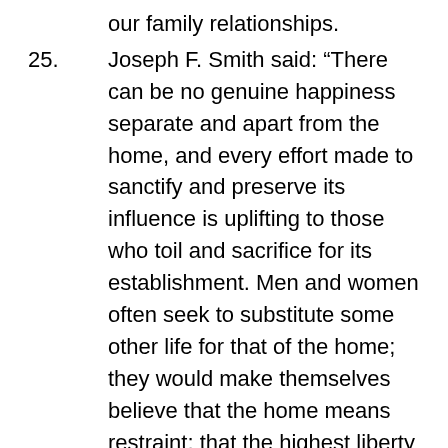our family relationships.
25. Joseph F. Smith said: “There can be no genuine happiness separate and apart from the home, and every effort made to sanctify and preserve its influence is uplifting to those who toil and sacrifice for its establishment. Men and women often seek to substitute some other life for that of the home; they would make themselves believe that the home means restraint; that the highest liberty is the fullest opportunity to move about at will. There is no happiness without service, and there is no service greater than that which converts the home into a divine institution, and which promotes and preserves family life” (Teachings of